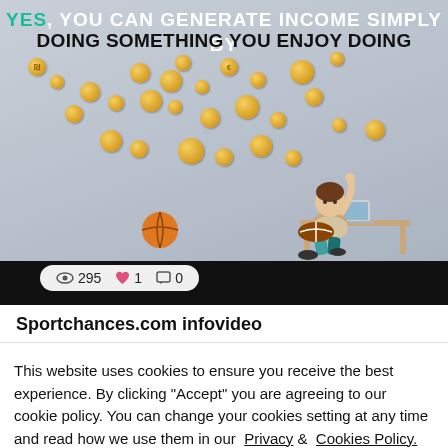[Figure (screenshot): Video thumbnail showing animation of a person at a laptop with coins flying around, text overlay: YES, YOU CAN GENERATE INCOME SIMPLY BY DOING SOMETHING YOU ENJOY DOING. Below the video: view count 295, heart 1, comment 0.]
Sportchances.com infovideo
This website uses cookies to ensure you receive the best experience. By clicking "Accept" you are agreeing to our cookie policy. You can change your cookies setting at any time and read how we use them in our Privacy & Cookies Policy.
Accept   Learn more